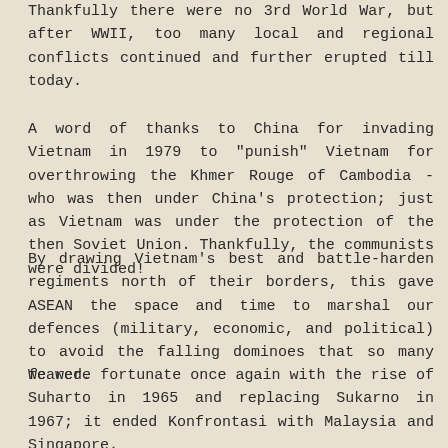Thankfully there were no 3rd World War, but after WWII, too many local and regional conflicts continued and further erupted till today.
A word of thanks to China for invading Vietnam in 1979 to "punish" Vietnam for overthrowing the Khmer Rouge of Cambodia - who was then under China's protection; just as Vietnam was under the protection of the then Soviet Union. Thankfully, the communists were divided!
By drawing Vietnam's best and battle-harden regiments north of their borders, this gave ASEAN the space and time to marshal our defences (military, economic, and political) to avoid the falling dominoes that so many feared.
We were fortunate once again with the rise of Suharto in 1965 and replacing Sukarno in 1967; it ended Konfrontasi with Malaysia and Singapore.